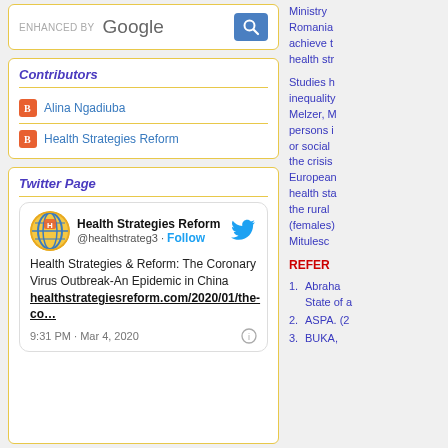[Figure (screenshot): Google enhanced search widget with search button]
Contributors
Alina Ngadiuba
Health Strategies Reform
Twitter Page
[Figure (screenshot): Tweet from Health Strategies Reform @healthstrateg3 about Coronary Virus Outbreak-An Epidemic in China, 9:31 PM Mar 4, 2020]
Ministry Romania achieve t health str
Studies h inequality Melzer, J persons i or social the crisis European health sta the rural (females) Mitulesc
REFER
Abraham State of a
ASPA. (2
BUKA,